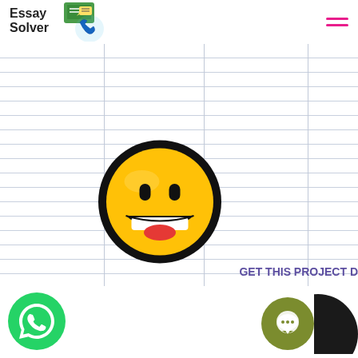[Figure (logo): EssaySolver logo with text and phone/chat icon illustration]
[Figure (illustration): Hamburger menu icon with two pink/magenta horizontal lines]
[Figure (illustration): Lined notebook paper background with faint grid column lines]
[Figure (illustration): Large grinning smiley face emoji — yellow circle with black border, wide open smile, red tongue, oval eyes]
GET THIS PROJECT D
[Figure (illustration): Green WhatsApp circular button with white phone handset icon]
[Figure (illustration): Olive/dark yellow circular chat button with white speech bubble icon]
[Figure (illustration): Dark circle partially cropped at right edge of page]